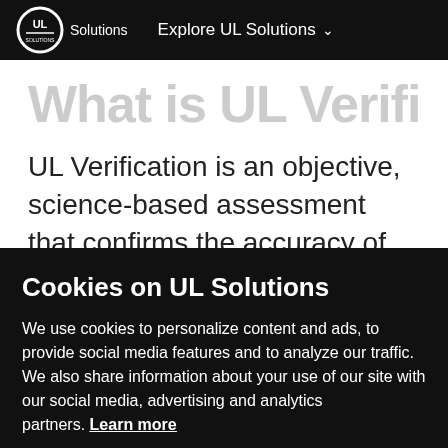UL Solutions — Explore UL Solutions
What is UL Verification
UL Verification is an objective, science-based assessment that confirms the accuracy of marketing claims. Our independent assessment process scrutinizes the validity of specific advertising or promotional statements, giving you a way to separate verified fact from fiction.
Cookies on UL Solutions
We use cookies to personalize content and ads, to provide social media features and to analyze our traffic. We also share information about your use of our site with our social media, advertising and analytics partners. Learn more
Cookies Settings | Accept All Cookies